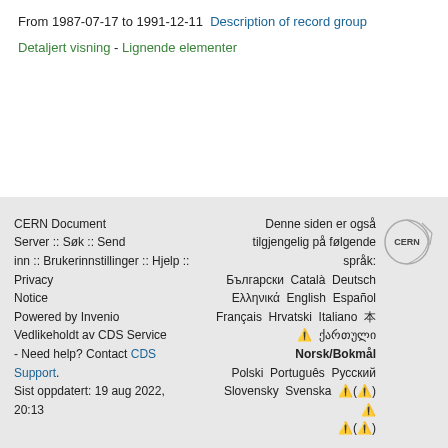From 1987-07-17 to 1991-12-11 Description of record group
Detaljert visning - Lignende elementer
CERN Document Server :: Søk :: Send inn :: Brukerinnstillinger :: Hjelp :: Privacy Notice
Powered by Invenio
Vedlikeholdt av CDS Service
- Need help? Contact CDS Support.
Sist oppdatert: 19 aug 2022, 20:13
Denne siden er også tilgjengelig på følgende språk:
Български Català Deutsch Ελληνικά English Español Français Hrvatski Italiano 日本語 ქართული Norsk/Bokmål Polski Português Русский Slovensky Svenska 中文(简) 中文 中文(繁)